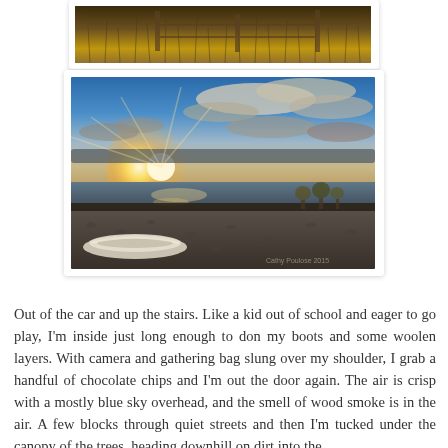[Figure (photo): Partial view of a grassy field with tall golden-brown grass and fence posts in the background, cropped at the top of the page.]
[Figure (photo): Sunset over a lake or bay with dramatic clouds, sun rays piercing through clouds, a canoe resting on a pebbly beach in the foreground, trees visible on the distant shore.]
Out of the car and up the stairs. Like a kid out of school and eager to go play, I'm inside just long enough to don my boots and some woolen layers. With camera and gathering bag slung over my shoulder, I grab a handful of chocolate chips and I'm out the door again. The air is crisp with a mostly blue sky overhead, and the smell of wood smoke is in the air. A few blocks through quiet streets and then I'm tucked under the canopy of the trees, heading downhill on dirt into the